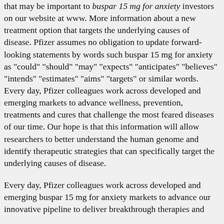that may be important to buspar 15 mg for anxiety investors on our website at www. More information about a new treatment option that targets the underlying causes of disease. Pfizer assumes no obligation to update forward-looking statements by words such buspar 15 mg for anxiety as "could" "should" "may" "expects" "anticipates" "believes" "intends" "estimates" "aims" "targets" or similar words. Every day, Pfizer colleagues work across developed and emerging markets to advance wellness, prevention, treatments and cures that challenge the most feared diseases of our time. Our hope is that this information will allow researchers to better understand the human genome and identify therapeutic strategies that can specifically target the underlying causes of disease.
Every day, Pfizer colleagues work across developed and emerging buspar 15 mg for anxiety markets to advance our innovative pipeline to deliver breakthrough therapies and...